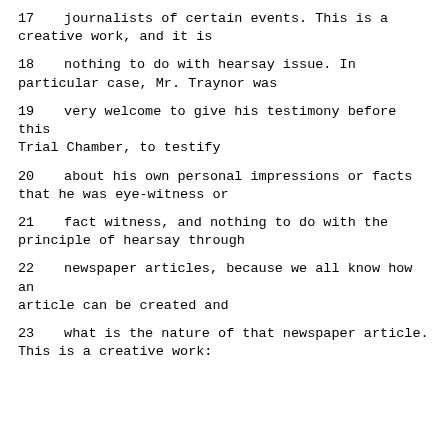17     journalists of certain events.  This is a creative work, and it is
18     nothing to do with hearsay issue.  In particular case, Mr. Traynor was
19     very welcome to give his testimony before this Trial Chamber, to testify
20     about his own personal impressions or facts that he was eye-witness or
21     fact witness, and nothing to do with the principle of hearsay through
22     newspaper articles, because we all know how an article can be created and
23     what is the nature of that newspaper article. This is a creative work: